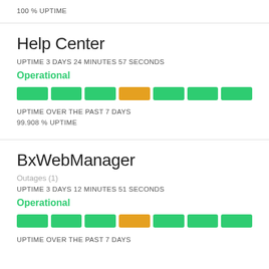100 % UPTIME
Help Center
UPTIME 3 DAYS 24 MINUTES 57 SECONDS
Operational
[Figure (infographic): 7-segment uptime bar chart with 6 green segments and 1 orange segment (4th position)]
UPTIME OVER THE PAST 7 DAYS
99.908 % UPTIME
BxWebManager
Outages (1)
UPTIME 3 DAYS 12 MINUTES 51 SECONDS
Operational
[Figure (infographic): 7-segment uptime bar chart with 6 green segments and 1 orange segment (4th position)]
UPTIME OVER THE PAST 7 DAYS